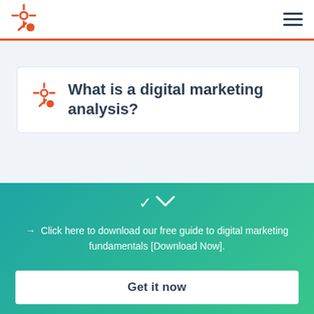HubSpot logo and navigation
What is a digital marketing analysis?
→ Click here to download our free guide to digital marketing fundamentals [Download Now].
Get it now